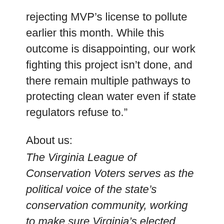rejecting MVP’s license to pollute earlier this month. While this outcome is disappointing, our work fighting this project isn’t done, and there remain multiple pathways to protecting clean water even if state regulators refuse to.”
About us:
The Virginia League of Conservation Voters serves as the political voice of the state’s conservation community, working to make sure Virginia’s elected officials recognize that our natural heritage is an environmental and economic treasure for all. Virginia LCV works with conservation leaders across Virginia and strives for a conservation majority in state government. We secure good